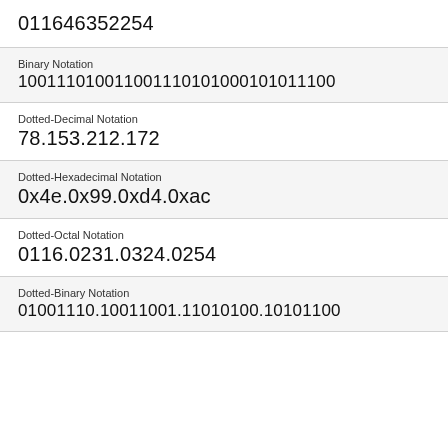011646352254
Binary Notation
100111010011001110101000101011100
Dotted-Decimal Notation
78.153.212.172
Dotted-Hexadecimal Notation
0x4e.0x99.0xd4.0xac
Dotted-Octal Notation
0116.0231.0324.0254
Dotted-Binary Notation
01001110.10011001.11010100.10101100